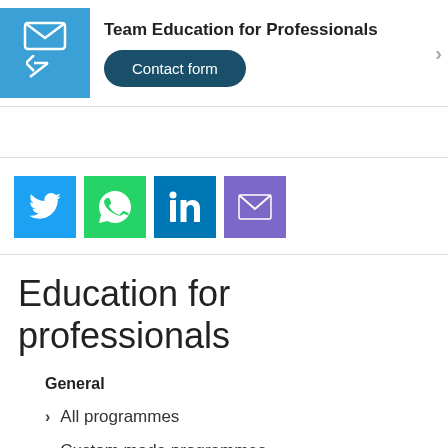Team Education for Professionals
Contact form
[Figure (infographic): Social sharing icons: Twitter (blue), WhatsApp (green), LinkedIn (dark teal), Email (purple)]
Education for professionals
General
All programmes
Custom made programmes
FAQs